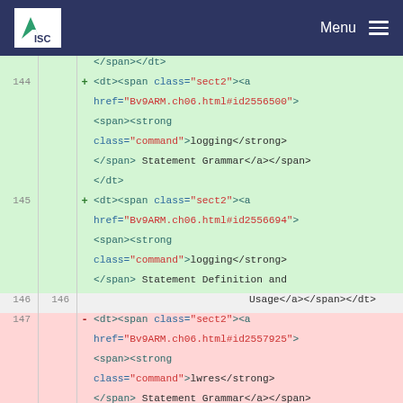ISC | Menu
[Figure (screenshot): Code diff view showing XML/HTML source lines 143-148 with line numbers, diff markers (+/-), green highlighted additions and pink highlighted deletions. Content shows dt/span elements with class='sect2' and anchor tags referencing Bv9ARM.ch06.html with fragment IDs, containing strong elements with class='command' for logging and lwres keywords.]